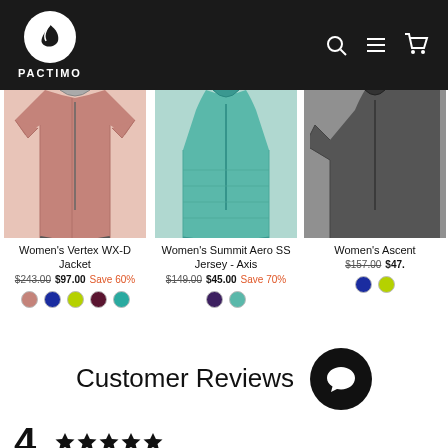[Figure (logo): Pactimo logo: white circle with black bird/flame icon, white text PACTIMO below]
[Figure (photo): Women's Vertex WX-D Jacket in dusty rose/mauve color]
Women's Vertex WX-D Jacket
$243.00  $97.00  Save 60%
[Figure (photo): Women's Summit Aero SS Jersey - Axis in teal/mint color]
Women's Summit Aero SS Jersey - Axis
$149.00  $45.00  Save 70%
[Figure (photo): Women's Ascent jacket in dark charcoal/black color, partially visible]
Women's Ascent
$157.00  $47.
Customer Reviews